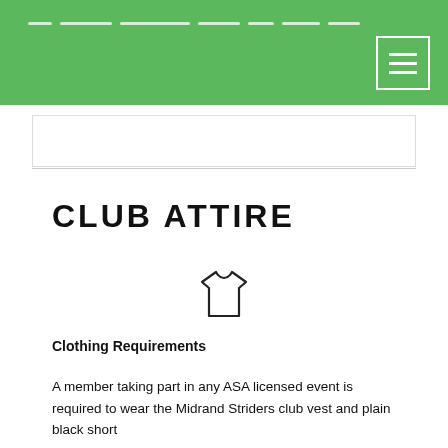CLUB ATTIRE navigation header with green background
[Figure (illustration): T-shirt outline icon, simple line drawing]
CLUB ATTIRE
Clothing Requirements
A member taking part in any ASA licensed event is required to wear the Midrand Striders club vest and plain black short